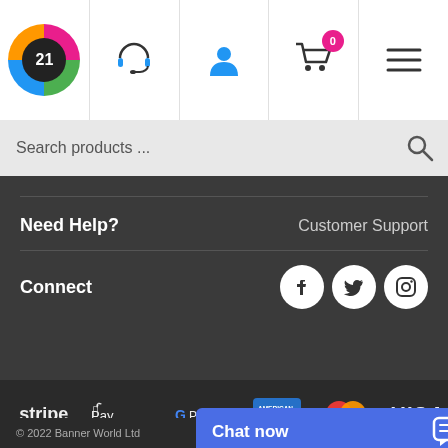[Figure (logo): Colorful circular logo with dark center and stylized text]
[Figure (illustration): Headset/customer support icon]
[Figure (illustration): User/person icon]
[Figure (illustration): Shopping cart icon with 0 badge]
[Figure (illustration): Hamburger menu icon]
Search products ...
Need Help?
Customer Support
Connect
[Figure (illustration): Social media icons: Facebook, Twitter, Instagram]
[Figure (illustration): Payment logos: Stripe, Apple Pay, Google Pay, American Express, Mastercard, Visa]
© 2022 Banner World Ltd
Chat now